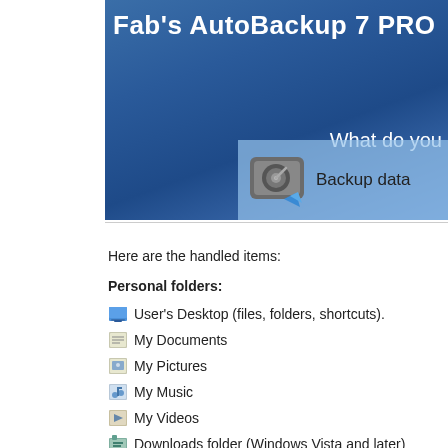[Figure (screenshot): Fab's AutoBackup 7 PRO application banner with blue gradient background, 'What do you' text, hard drive icon, and 'Backup data' text on light blue panel]
Here are the handled items:
Personal folders:
User's Desktop (files, folders, shortcuts).
My Documents
My Pictures
My Music
My Videos
Downloads folder (Windows Vista and later)